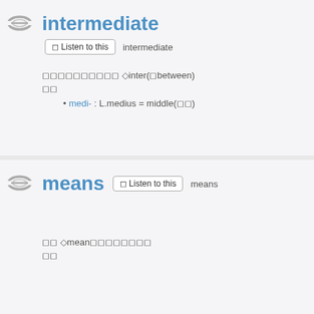intermediate
◻ Listen to this  intermediate
◻◻◻◻◻◻◻◻◻◻ ◇inter(◻between)
◻◻
medi- : L.medius = middle(◻◻)
means
◻ Listen to this  means
◻◻ ◇mean◻◻◻◻◻◻◻◻
◻◻